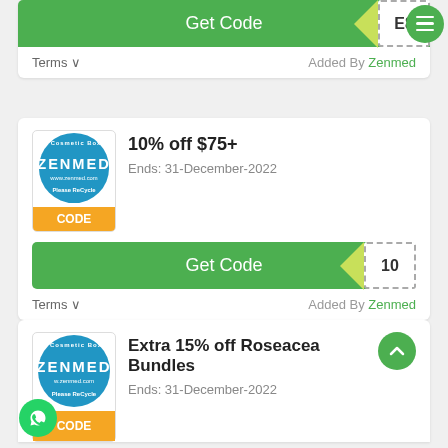[Figure (screenshot): Zenmed coupon card with Get Code button showing partial code 'E8', Terms link, and Added By Zenmed]
Get Code
E8
Terms ∨
Added By Zenmed
[Figure (logo): Zenmed logo circle on white card with CODE bar]
10% off $75+
Ends: 31-December-2022
Get Code
10
Terms ∨
Added By Zenmed
[Figure (logo): Zenmed logo circle on white card with CODE bar]
Extra 15% off Roseacea Bundles
Ends: 31-December-2022